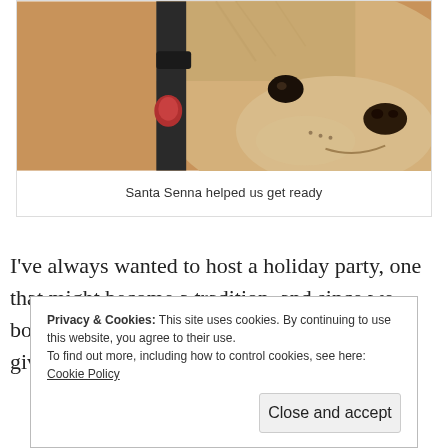[Figure (photo): Close-up photo of a yellow/golden Labrador dog with a red tag on its collar, looking downward. The dog's face and snout fill most of the frame against a warm orange/brown background.]
Santa Senna helped us get ready
I've always wanted to host a holiday party, one that might become a tradition, and since we bought a house now's as good a time as any to give it a go, right?
Privacy & Cookies: This site uses cookies. By continuing to use this website, you agree to their use.
To find out more, including how to control cookies, see here: Cookie Policy
[Close and accept]